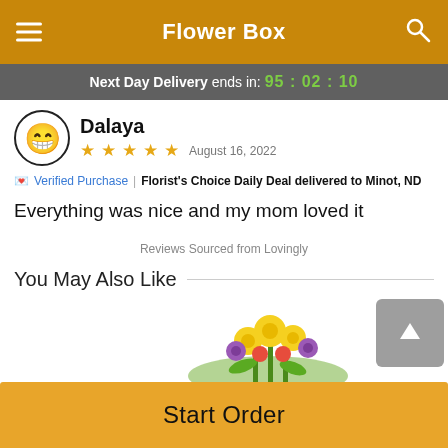Flower Box
Next Day Delivery ends in: 95:02:10
Dalaya
★★★★★  August 16, 2022
✉ Verified Purchase | Florist's Choice Daily Deal delivered to Minot, ND
Everything was nice and my mom loved it
Reviews Sourced from Lovingly
You May Also Like
[Figure (photo): Colorful flower bouquet arrangement with yellow, purple, and red flowers]
Start Order